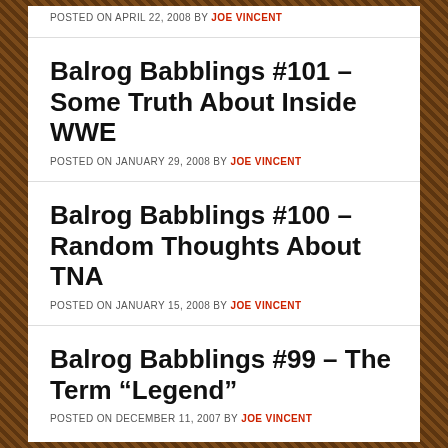POSTED ON APRIL 22, 2008 BY JOE VINCENT
Balrog Babblings #101 – Some Truth About Inside WWE
POSTED ON JANUARY 29, 2008 BY JOE VINCENT
Balrog Babblings #100 – Random Thoughts About TNA
POSTED ON JANUARY 15, 2008 BY JOE VINCENT
Balrog Babblings #99 – The Term “Legend”
POSTED ON DECEMBER 11, 2007 BY JOE VINCENT